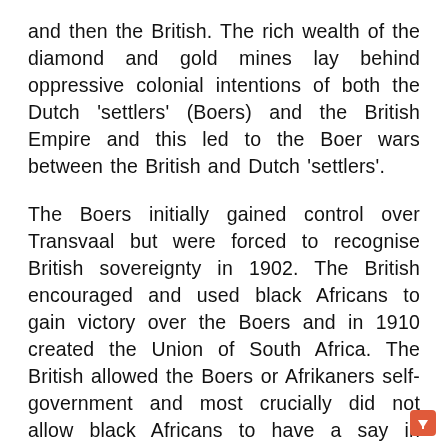and then the British. The rich wealth of the diamond and gold mines lay behind oppressive colonial intentions of both the Dutch 'settlers' (Boers) and the British Empire and this led to the Boer wars between the British and Dutch 'settlers'.
The Boers initially gained control over Transvaal but were forced to recognise British sovereignty in 1902. The British encouraged and used black Africans to gain victory over the Boers and in 1910 created the Union of South Africa. The British allowed the Boers or Afrikaners self-government and most crucially did not allow black Africans to have a say in elections of a national parliament. Winston Churchill, then Under-Secretary for the Colonies, argued that the Afrikaners should be